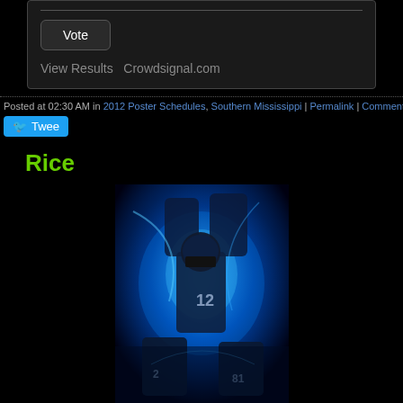[Figure (screenshot): Vote widget with Vote button, View Results and Crowdsignal.com links on dark background]
Posted at 02:30 AM in 2012 Poster Schedules, Southern Mississippi | Permalink | Comment
[Figure (other): Twitter Tweet button]
Rice
[Figure (photo): Rice University football poster with players in dark blue uniforms with glowing blue light effects]